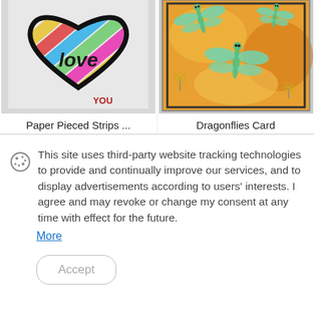[Figure (photo): Handmade card showing a heart shape filled with colorful diagonal paper strips (love theme) with 'YOU' text in red at the bottom]
Paper Pieced Strips ...
[Figure (photo): Handmade card showing illustrated dragonflies on an orange/yellow watercolor background with dandelion flowers]
Dragonflies Card
This site uses third-party website tracking technologies to provide and continually improve our services, and to display advertisements according to users' interests. I agree and may revoke or change my consent at any time with effect for the future.
More
Accept